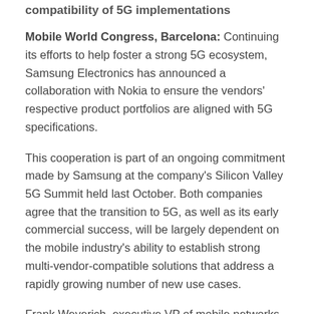compatibility of 5G implementations
Mobile World Congress, Barcelona: Continuing its efforts to help foster a strong 5G ecosystem, Samsung Electronics has announced a collaboration with Nokia to ensure the vendors' respective product portfolios are aligned with 5G specifications.
This cooperation is part of an ongoing commitment made by Samsung at the company's Silicon Valley 5G Summit held last October. Both companies agree that the transition to 5G, as well as its early commercial success, will be largely dependent on the mobile industry's ability to establish strong multi-vendor-compatible solutions that address a rapidly growing number of new use cases.
Frank Weyerich, executive VP of mobile networks products at Nokia, said: “Collaboration between vendors is crucial for 5G to enable new business in the mobile market and other industry sectors. The joint interoperability testing between Nokia and Samsung is an important step for making 5G work across networks and devices, fostering early